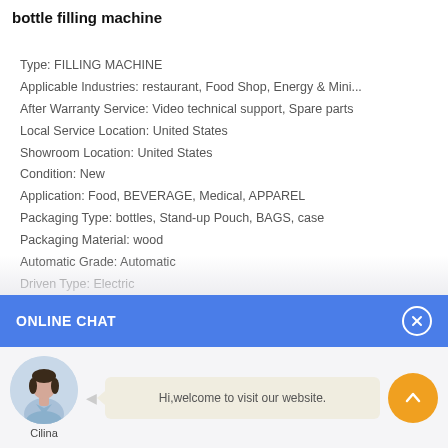bottle filling machine
Type: FILLING MACHINE
Applicable Industries: restaurant, Food Shop, Energy & Mini...
After Warranty Service: Video technical support, Spare parts
Local Service Location: United States
Showroom Location: United States
Condition: New
Application: Food, BEVERAGE, Medical, APPAREL
Packaging Type: bottles, Stand-up Pouch, BAGS, case
Packaging Material: wood
Automatic Grade: Automatic
Driven Type: Electric
ONLINE CHAT
[Figure (illustration): Chat widget with avatar of a woman named Cilina and message bubble saying 'Hi, welcome to visit our website.']